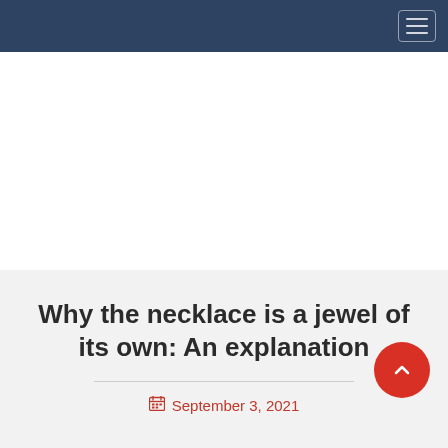[Figure (screenshot): White empty area below the navigation header]
Why the necklace is a jewel of its own: An explanation
September 3, 2021